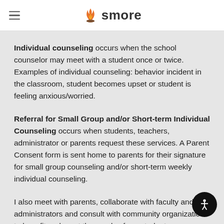smore
Individual counseling occurs when the school counselor may meet with a student once or twice. Examples of individual counseling: behavior incident in the classroom, student becomes upset or student is feeling anxious/worried.
Referral for Small Group and/or Short-term Individual Counseling occurs when students, teachers, administrator or parents request these services. A Parent Consent form is sent home to parents for their signature for small group counseling and/or short-term weekly individual counseling.
I also meet with parents, collaborate with faculty and administrators and consult with community organizations to benefit and meet the needs of our students.